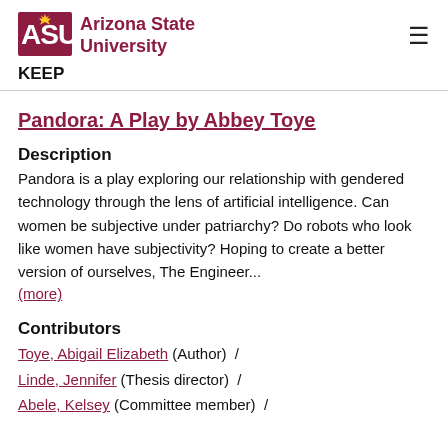ASU Arizona State University  KEEP
Pandora: A Play by Abbey Toye
Description
Pandora is a play exploring our relationship with gendered technology through the lens of artificial intelligence. Can women be subjective under patriarchy? Do robots who look like women have subjectivity? Hoping to create a better version of ourselves, The Engineer...
(more)
Contributors
Toye, Abigail Elizabeth (Author)  /
Linde, Jennifer (Thesis director)  /
Abele, Kelsey (Committee member)  /